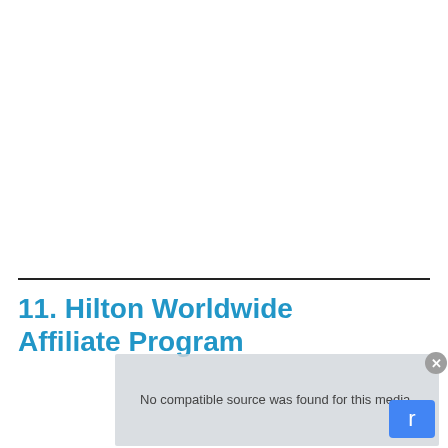11. Hilton Worldwide Affiliate Program
[Figure (other): Video player overlay showing 'No compatible source was found for this media.' with a close button and reCAPTCHA icon, and watermark text '10 Best Hotel Affiliate' visible behind the overlay.]